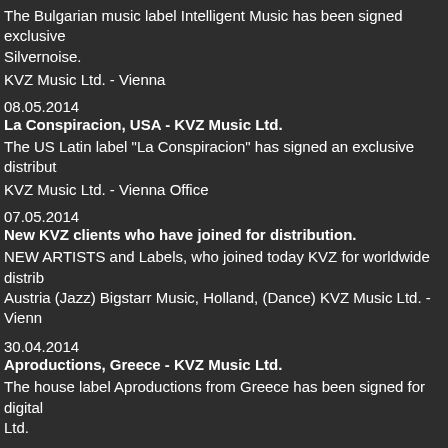The Bulgarian music label Intelligent Music has been signed exclusive Silvernoise.
KVZ Music Ltd. - Vienna
08.05.2014
La Conspiracion, USA - KVZ Music Ltd.
The US Latin label "La Conspiracion" has signed an exclusive distribut
KVZ Music Ltd. - Vienna Office
07.05.2014
New KVZ clients who have joined for distribution.
NEW ARTISTS and Labels, who joined today KVZ for worldwide distrib Austria (Jazz) Bigstarr Music, Holland, (Dance) KVZ Music Ltd. - Vienn
30.04.2014
Aproductions, Greece - KVZ Music Ltd.
The house label Aproductions from Greece has been signed for digital Ltd.